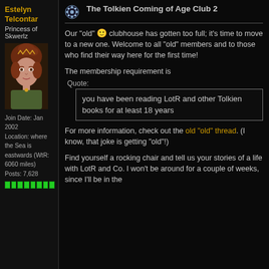Estelyn Telcontar
Princess of Skwerlz
[Figure (photo): Avatar of Estelyn Telcontar, a woman with reddish-brown updo hair in a fantasy-style portrait]
Join Date: Jan 2002
Location: where the Sea is eastwards (WtR: 6060 miles)
Posts: 7,628
The Tolkien Coming of Age Club 2
Our "old" 🙂 clubhouse has gotten too full; it's time to move to a new one. Welcome to all "old" members and to those who find their way here for the first time!
The membership requirement is
Quote:
you have been reading LotR and other Tolkien books for at least 18 years
For more information, check out the old "old" thread. (I know, that joke is getting "old"!)
Find yourself a rocking chair and tell us your stories of a life with LotR and Co. I won't be around for a couple of weeks, since I'll be in the